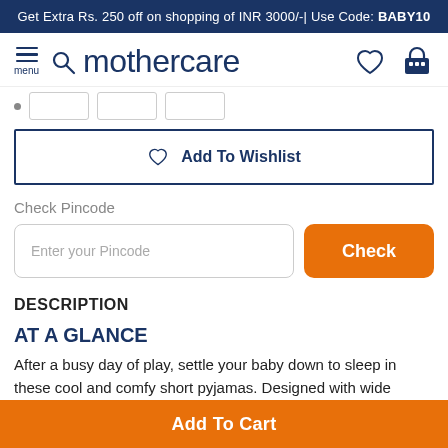Get Extra Rs. 250 off on shopping of INR 3000/-| Use Code: BABY10
[Figure (logo): Mothercare logo with hamburger menu, search icon, heart/wishlist icon and basket icon in navy blue]
Add To Wishlist
Check Pincode
Enter your Pincode
Check
DESCRIPTION
AT A GLANCE
After a busy day of play, settle your baby down to sleep in these cool and comfy short pyjamas. Designed with wide waistbands which sit
Add To Cart